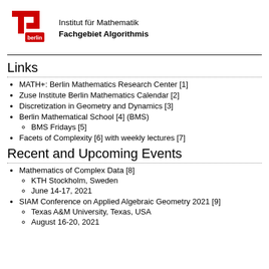[Figure (logo): TU Berlin logo — red stylized T and U letters with 'berlin' text on red background]
Institut für Mathematik
Fachgebiet Algorithmis
Links
MATH+: Berlin Mathematics Research Center [1]
Zuse Institute Berlin Mathematics Calendar [2]
Discretization in Geometry and Dynamics [3]
Berlin Mathematical School [4] (BMS)
BMS Fridays [5]
Facets of Complexity [6] with weekly lectures [7]
Recent and Upcoming Events
Mathematics of Complex Data [8]
KTH Stockholm, Sweden
June 14-17, 2021
SIAM Conference on Applied Algebraic Geometry 2021 [9]
Texas A&M University, Texas, USA
August 16-20, 2021